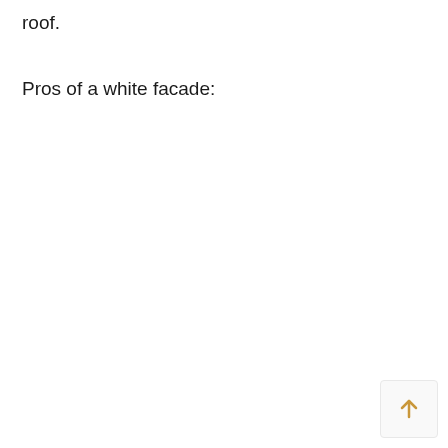roof.
Pros of a white facade:
[Figure (other): Back to top button with upward arrow in gold/yellow color]